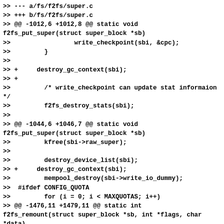>> --- a/fs/f2fs/super.c
>> +++ b/fs/f2fs/super.c
>> @@ -1012,6 +1012,8 @@ static void f2fs_put_super(struct super_block *sb)
>>                 write_checkpoint(sbi, &cpc);
>>         }
>>
>> +     destroy_gc_context(sbi);
>> +
>>         /* write_checkpoint can update stat informaion */
>>         f2fs_destroy_stats(sbi);
>>
>> @@ -1044,6 +1046,7 @@ static void f2fs_put_super(struct super_block *sb)
>>         kfree(sbi->raw_super);
>>
>>         destroy_device_list(sbi);
>> +     destroy_gc_context(sbi);
>>         mempool_destroy(sbi->write_io_dummy);
>>  #ifdef CONFIG_QUOTA
>>         for (i = 0; i < MAXQUOTAS; i++)
>> @@ -1476,11 +1479,11 @@ static int f2fs_remount(struct super_block *sb, int *flags, char *data)
>>         * option. Also sync the filesystem.
>>         */
>>         if ((*flags & SB_RDONLY) || !test_opt(sbi, BG_GC)) {
>> +         if (sbi->gc_thread) {